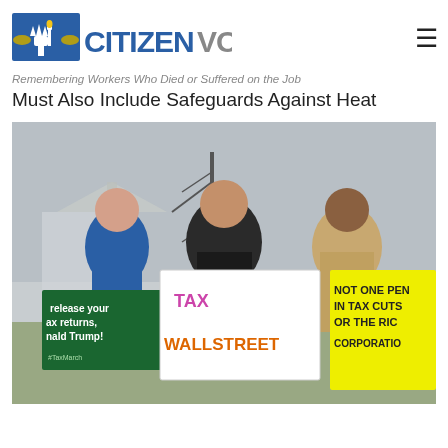CITIZENVOX
Remembering Workers Who Died or Suffered on the Job Must Also Include Safeguards Against Heat
[Figure (photo): Three women standing outdoors near the US Capitol building, holding protest signs. Left sign (green): 'release your tax returns, Donald Trump!', center sign (white): 'TAX WALL STREET', right sign (yellow): 'NOT ONE PENNY IN TAX CUTS FOR THE RICH CORPORATIONS']